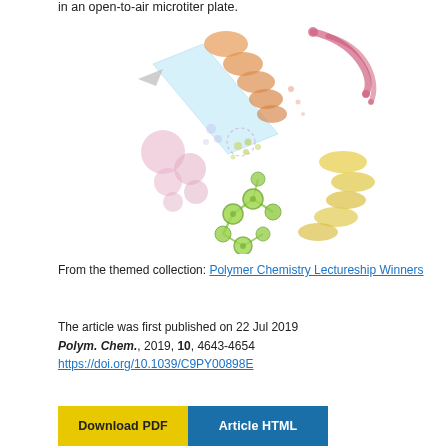in an open-to-air microtiter plate.
[Figure (illustration): Scientific illustration showing various molecular and cellular elements (pill-shaped bacteria, spherical particles, molecular structures, a pipette/funnel) dispersed in a decorative arrangement, suggesting drug delivery or antimicrobial polymer chemistry concept.]
From the themed collection: Polymer Chemistry Lectureship Winners
The article was first published on 22 Jul 2019
Polym. Chem., 2019, 10, 4643-4654
https://doi.org/10.1039/C9PY00898E
Download PDF
Article HTML